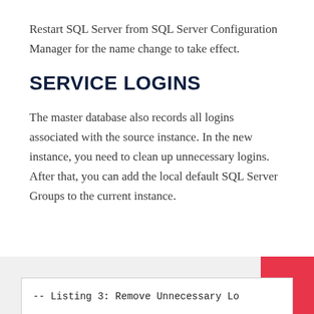Restart SQL Server from SQL Server Configuration Manager for the name change to take effect.
SERVICE LOGINS
The master database also records all logins associated with the source instance. In the new instance, you need to clean up unnecessary logins. After that, you can add the local default SQL Server Groups to the current instance.
-- Listing 3: Remove Unnecessary Lo